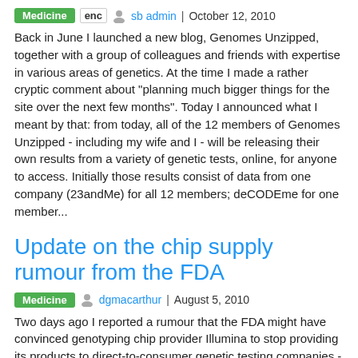Medicine | enc | sb admin | October 12, 2010
Back in June I launched a new blog, Genomes Unzipped, together with a group of colleagues and friends with expertise in various areas of genetics. At the time I made a rather cryptic comment about "planning much bigger things for the site over the next few months". Today I announced what I meant by that: from today, all of the 12 members of Genomes Unzipped - including my wife and I - will be releasing their own results from a variety of genetic tests, online, for anyone to access. Initially those results consist of data from one company (23andMe) for all 12 members; deCODEme for one member...
Update on the chip supply rumour from the FDA
Medicine | dgmacarthur | August 5, 2010
Two days ago I reported a rumour that the FDA might have convinced genotyping chip provider Illumina to stop providing its products to direct-to-consumer genetic testing companies - a move that would effectively prevent these companies from